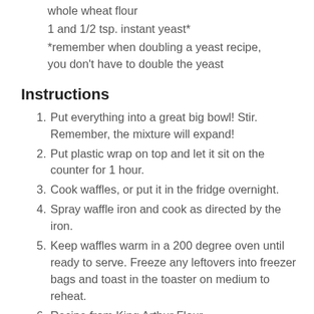whole wheat flour
1 and 1/2 tsp. instant yeast*
*remember when doubling a yeast recipe, you don't have to double the yeast
Instructions
1. Put everything into a great big bowl! Stir. Remember, the mixture will expand!
2. Put plastic wrap on top and let it sit on the counter for 1 hour.
3. Cook waffles, or put it in the fridge overnight.
4. Spray waffle iron and cook as directed by the iron.
5. Keep waffles warm in a 200 degree oven until ready to serve. Freeze any leftovers into freezer bags and toast in the toaster on medium to reheat.
6. Recipe from King Arthur Flour
Yeast Waffles
serves 4